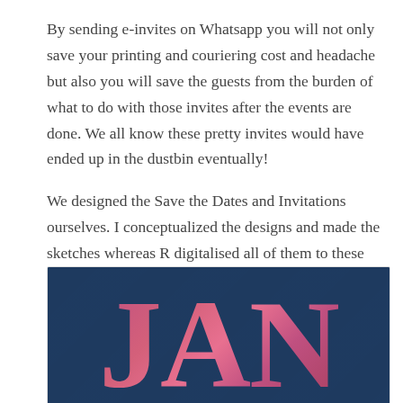By sending e-invites on Whatsapp you will not only save your printing and couriering cost and headache but also you will save the guests from the burden of what to do with those invites after the events are done. We all know these pretty invites would have ended up in the dustbin eventually!
We designed the Save the Dates and Invitations ourselves. I conceptualized the designs and made the sketches whereas R digitalised all of them to these pretty invitations you see.
[Figure (photo): A dark navy blue background with large pink/rose colored serif letters 'JAN' displayed prominently, partially cropped. The letters appear to have a gradient or textured pink-rose color against the dark blue backdrop.]